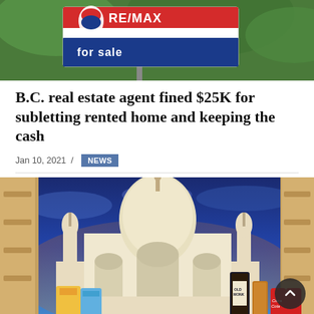[Figure (photo): Close-up of a RE/MAX 'For Sale' real estate sign with red, white, and blue colors against green foliage background]
B.C. real estate agent fined $25K for subletting rented home and keeping the cash
Jan 10, 2021 / NEWS
[Figure (photo): Composite image of the Taj Mahal at sunset/dusk with Indian snack products (Old Monk rum, Coca-Cola cans, chips packages) in the foreground]
[Figure (photo): Advertisement banner: 6th Annual Free Kids Cut Day with a child wearing heart-shaped sunglasses on a pink background]